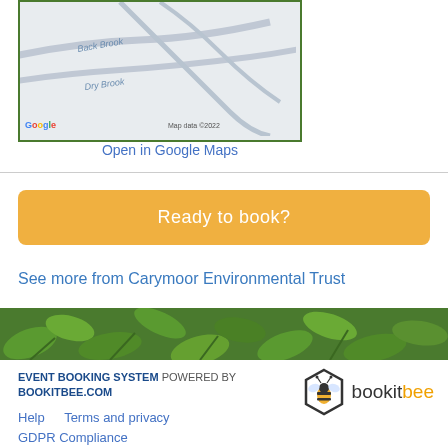[Figure (map): Google Maps screenshot showing Back Brook and Dry Brook waterways with green border frame. Map data ©2022 shown in bottom right corner, Google logo in bottom left.]
Open in Google Maps
Ready to book?
See more from Carymoor Environmental Trust
[Figure (photo): Strip of nature/plant foliage photo showing green leaves and vegetation]
EVENT BOOKING SYSTEM POWERED BY BOOKITBEE.COM
[Figure (logo): BookitBee logo with hexagonal bee icon and bookitbee text where 'bee' is in orange]
Help    Terms and privacy
GDPR Compliance